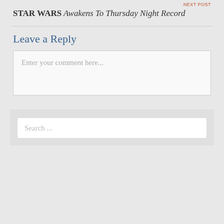NEXT POST
STAR WARS Awakens To Thursday Night Record
Leave a Reply
Enter your comment here...
Search ...